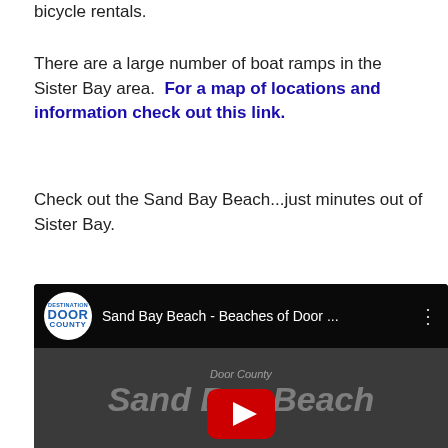bicycle rentals.
There are a large number of boat ramps in the Sister Bay area.  For a map of locations and information check out this link.
Check out the Sand Bay Beach...just minutes out of Sister Bay.
[Figure (screenshot): Embedded YouTube video thumbnail showing 'Sand Bay Beach - Beaches of Door ...' with Door County logo, play button, and beach scene with people in background]